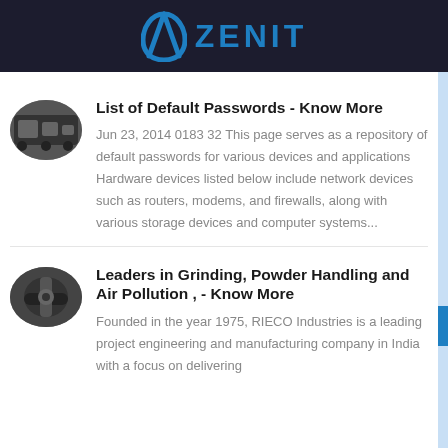ZENIT
List of Default Passwords - Know More
Jun 23, 2014 0183 32 This page serves as a repository of default passwords for various devices and applications Hardware devices listed below include network devices such as routers, modems, and firewalls, along with various storage devices and computer systems...
Leaders in Grinding, Powder Handling and Air Pollution , - Know More
Founded in the year 1975, RIECO Industries is a leading project engineering and manufacturing company in India with a focus on delivering